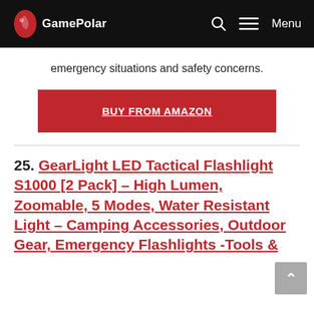GamePolar — Menu
emergency situations and safety concerns.
[Figure (other): Red 'BUY FROM AMAZON' button]
25. GearLight LED Tactical Flashlight S1000 [2 Pack] – High Lumen, Zoomable, 5 Modes, Water Resistant Light – Camping Accessories, Outdoor Gear, Emergency Flashlights -Tools & Home...